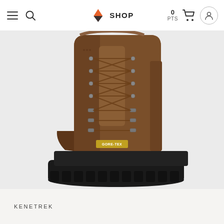SHOP
[Figure (photo): Brown leather lace-up hunting boot (Kenetrek brand) with tall shaft, metal eyelets and hooks, waterproof GORE-TEX label, and thick black rubber lug sole, photographed against a white background.]
KENETREK